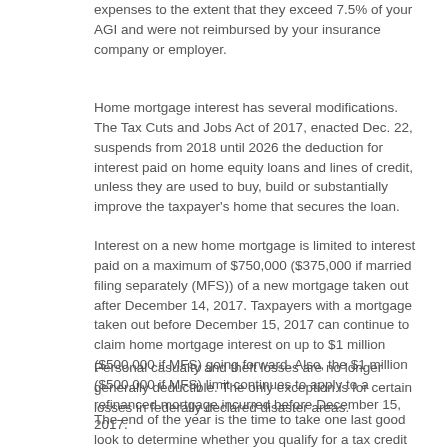expenses to the extent that they exceed 7.5% of your AGI and were not reimbursed by your insurance company or employer.
Home mortgage interest has several modifications. The Tax Cuts and Jobs Act of 2017, enacted Dec. 22, suspends from 2018 until 2026 the deduction for interest paid on home equity loans and lines of credit, unless they are used to buy, build or substantially improve the taxpayer's home that secures the loan.
Interest on a new home mortgage is limited to interest paid on a maximum of $750,000 ($375,000 if married filing separately (MFS)) of a new mortgage taken out after December 14, 2017. Taxpayers with a mortgage taken out before December 15, 2017 can continue to claim home mortgage interest on up to $1 million ($500,000 if MFS) going forward. Also, the $1 million ($500,000 if MFS) limit continues to apply to a refinanced mortgage incurred before December 15, 2017.
Personal casualty and theft losses are no longer generally deductible. The only exception is for certain losses in federally declared disaster areas.
The end of the year is the time to take one last good look to determine whether you qualify for a tax credit or deduction or whether you're close to the cutoff point. If you're not close, you may opt to postpone incurring some medical or other expenses…